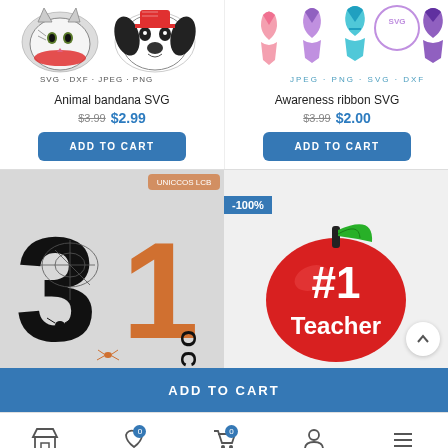[Figure (photo): Animal bandana SVG product image - cat and dog wearing bandanas]
[Figure (photo): Awareness ribbon SVG product image - multiple colored awareness ribbons]
Animal bandana SVG
Awareness ribbon SVG
$3.99 $2.99
$3.99 $2.00
ADD TO CART
ADD TO CART
[Figure (photo): Halloween October 31 SVG design with spider web number 3 and orange number 1 with OCTOBER text]
[Figure (photo): #1 Teacher apple SVG design - red apple with leaf and #1 Teacher text, -100% sale badge]
ADD TO CART
Store | Wishlist 0 | Cart 0 | Account | Menu